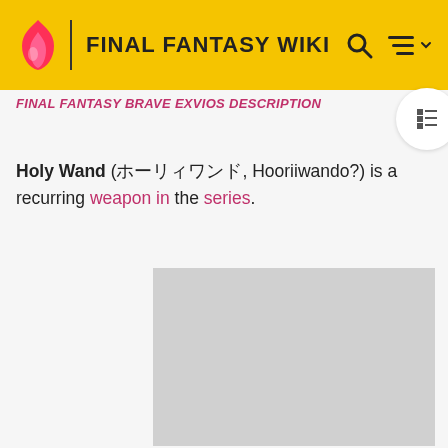FINAL FANTASY WIKI
FINAL FANTASY BRAVE EXVIOS DESCRIPTION
Holy Wand (ホーリィワンド, Hooriiwando?) is a recurring weapon in the series.
[Figure (photo): Gray placeholder image for Holy Wand]